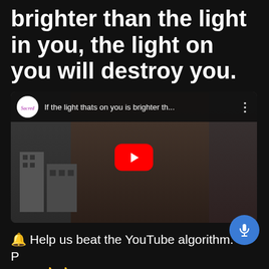brighter than the light in you, the light on you will destroy you.
[Figure (screenshot): YouTube video thumbnail showing a bearded man wearing a camouflage and red cap, with a YouTube play button overlay. Video bar shows Sacred channel logo and title: 'If the light thats on you is brighter th...']
🔔 Help us beat the YouTube algorithm. Please LIKE 👍👍 and SUBSCRIBE. This will keep you updated with our latest content and more...